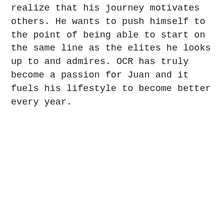realize that his journey motivates others. He wants to push himself to the point of being able to start on the same line as the elites he looks up to and admires. OCR has truly become a passion for Juan and it fuels his lifestyle to become better every year.